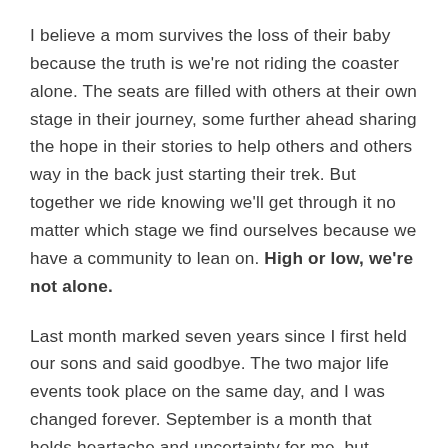I believe a mom survives the loss of their baby because the truth is we're not riding the coaster alone. The seats are filled with others at their own stage in their journey, some further ahead sharing the hope in their stories to help others and others way in the back just starting their trek. But together we ride knowing we'll get through it no matter which stage we find ourselves because we have a community to lean on. High or low, we're not alone.
Last month marked seven years since I first held our sons and said goodbye. The two major life events took place on the same day, and I was changed forever. September is a month that holds heartache and uncertainty for me, but October, Pregnancy and Infant Loss Awareness Month, awakens my soul to the hope in our story. I'm reminded that my story, her